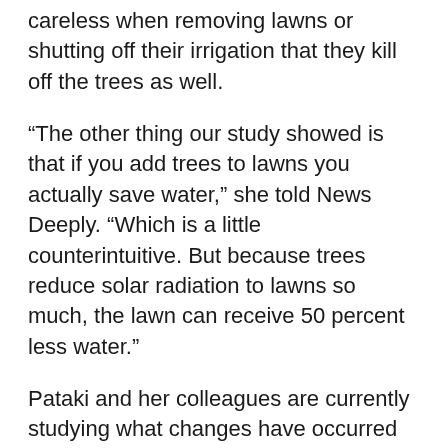careless when removing lawns or shutting off their irrigation that they kill off the trees as well.
“The other thing our study showed is that if you add trees to lawns you actually save water,” she told News Deeply. “Which is a little counterintuitive. But because trees reduce solar radiation to lawns so much, the lawn can receive 50 percent less water.”
Pataki and her colleagues are currently studying what changes have occurred as a result of the turfgrass removal programs. They are in the early stages of determining what people have replaced their lawns with, before they can calculate any actual water savings.
She is uncertain if people will revert back to their over-watering ways and is curious if the drought has changed their sense of aesthetics.